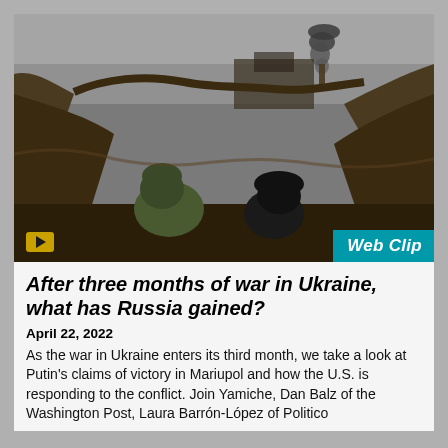[Figure (photo): Soldiers in a trench with smoke plume rising in background, wartime Ukraine scene. A video play button (yellow/gold) is visible in lower left. A 'Web Clip' badge in teal/cyan appears in lower right corner.]
After three months of war in Ukraine, what has Russia gained?
April 22, 2022
As the war in Ukraine enters its third month, we take a look at Putin's claims of victory in Mariupol and how the U.S. is responding to the conflict. Join Yamiche, Dan Balz of the Washington Post, Laura Barrón-López of Politico